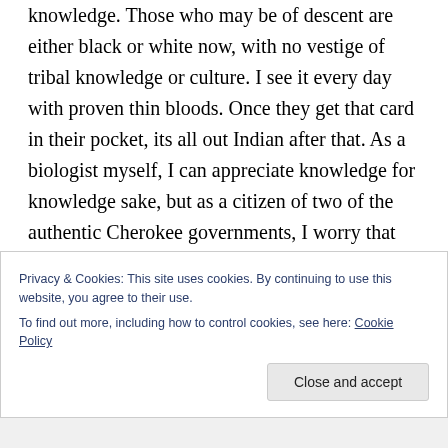knowledge. Those who may be of descent are either black or white now, with no vestige of tribal knowledge or culture. I see it every day with proven thin bloods. Once they get that card in their pocket, its all out Indian after that. As a biologist myself, I can appreciate knowledge for knowledge sake, but as a citizen of two of the authentic Cherokee governments, I worry that projects such as yours will only fuel the fire of wannabeism and advance the destruction of tribal sovereignty. Good luck with your project.
Privacy & Cookies: This site uses cookies. By continuing to use this website, you agree to their use.
To find out more, including how to control cookies, see here: Cookie Policy